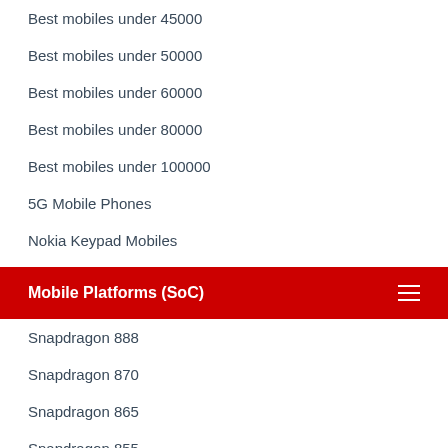Best mobiles under 45000
Best mobiles under 50000
Best mobiles under 60000
Best mobiles under 80000
Best mobiles under 100000
5G Mobile Phones
Nokia Keypad Mobiles
Mobile Platforms (SoC)
Snapdragon 888
Snapdragon 870
Snapdragon 865
Snapdragon 855